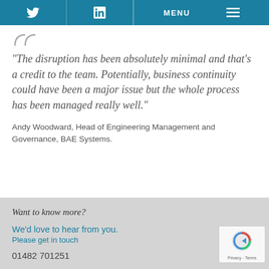Twitter | LinkedIn | MENU
“The disruption has been absolutely minimal and that’s a credit to the team. Potentially, business continuity could have been a major issue but the whole process has been managed really well.”
Andy Woodward, Head of Engineering Management and Governance, BAE Systems.
Want to know more?
We’d love to hear from you.
Please get in touch
01482 701251